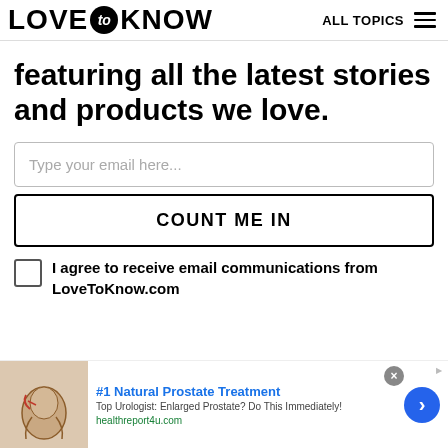LOVE to KNOW | ALL TOPICS
featuring all the latest stories and products we love.
Type your email here...
COUNT ME IN
I agree to receive email communications from LoveToKnow.com
[Figure (other): Advertisement banner: #1 Natural Prostate Treatment. Top Urologist: Enlarged Prostate? Do This Immediately! healthreport4u.com]
#1 Natural Prostate Treatment. Top Urologist: Enlarged Prostate? Do This Immediately! healthreport4u.com